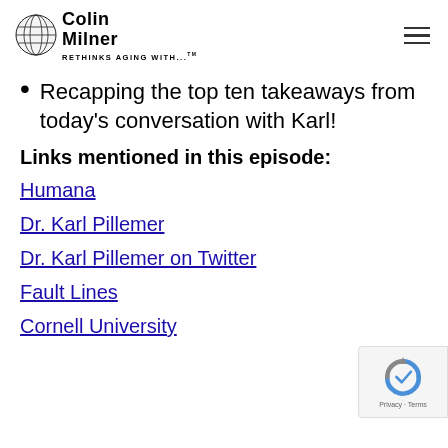Colin Milner Rethinks Aging With...
Recapping the top ten takeaways from today's conversation with Karl!
Links mentioned in this episode:
Humana
Dr. Karl Pillemer
Dr. Karl Pillemer on Twitter
Fault Lines
Cornell University